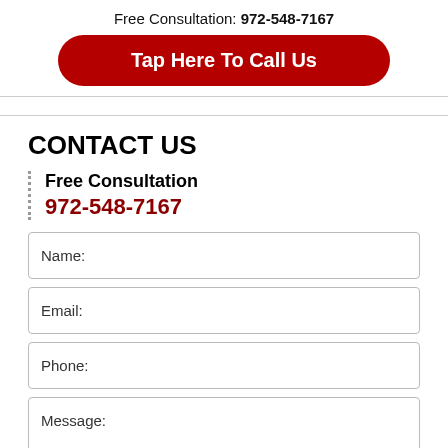Free Consultation: 972-548-7167
Tap Here To Call Us
CONTACT US
Free Consultation
972-548-7167
Name:
Email:
Phone:
Message: